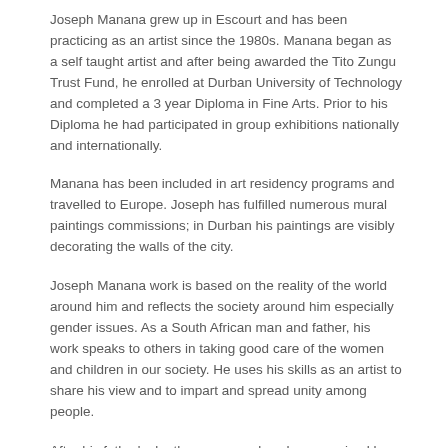Joseph Manana grew up in Escourt and has been practicing as an artist since the 1980s. Manana began as a self taught artist and after being awarded the Tito Zungu Trust Fund, he enrolled at Durban University of Technology and completed a 3 year Diploma in Fine Arts. Prior to his Diploma he had participated in group exhibitions nationally and internationally.
Manana has been included in art residency programs and travelled to Europe. Joseph has fulfilled numerous mural paintings commissions; in Durban his paintings are visibly decorating the walls of the city.
Joseph Manana work is based on the reality of the world around him and reflects the society around him especially gender issues. As a South African man and father, his work speaks to others in taking good care of the women and children in our society. He uses his skills as an artist to share his view and to impart and spread unity among people.
After his father's death as a young boy, he was raised by his single mum where he and his siblings ate out of one bowl. This has taught me to share and to value the love of family.